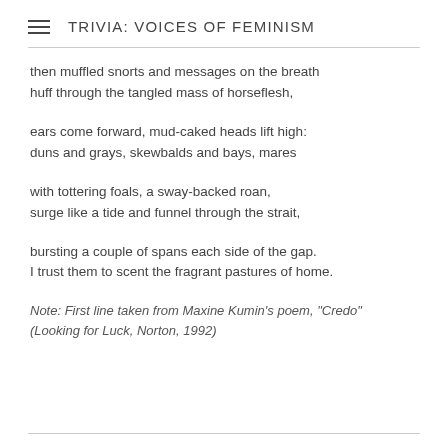TRIVIA: VOICES OF FEMINISM
then muffled snorts and messages on the breath
huff through the tangled mass of horseflesh,
ears come forward, mud-caked heads lift high:
duns and grays, skewbalds and bays, mares
with tottering foals, a sway-backed roan,
surge like a tide and funnel through the strait,
bursting a couple of spans each side of the gap.
I trust them to scent the fragrant pastures of home.
Note: First line taken from Maxine Kumin's poem, "Credo" (Looking for Luck, Norton, 1992)